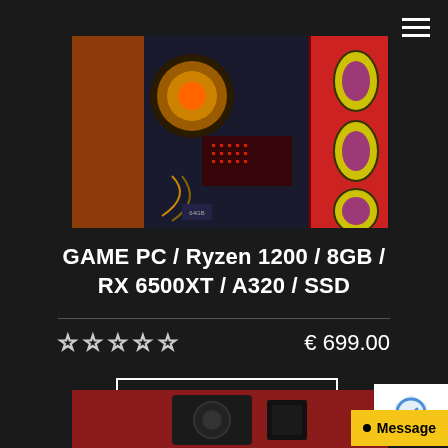[Figure (photo): Gaming PC tower with RGB lighting and decorative panel with turtle-shell pattern, placed next to red background]
GAME PC / Ryzen 1200 / 8GB / RX 6500XT / A320 / SSD
★★★★★  € 699.00
Add to cart
[Figure (photo): Partial view of another computer product on red background]
[Figure (other): reCAPTCHA badge and Message button overlay]